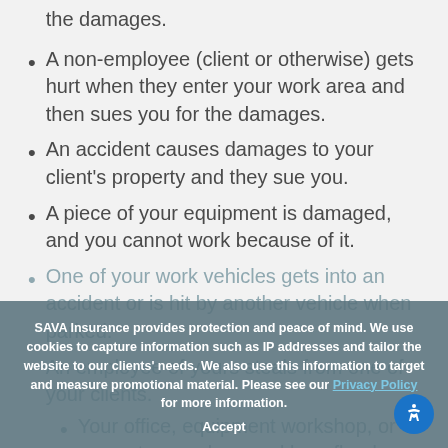the damages.
A non-employee (client or otherwise) gets hurt when they enter your work area and then sues you for the damages.
An accident causes damages to your client's property and they sue you.
A piece of your equipment is damaged, and you cannot work because of it.
One of your work vehicles gets into an accident or is hit by another vehicle when parked.
An employee of yours steals from one of your clients.
Your office, equipment workshop, or computer are damaged by a flood.
SAVA Insurance provides protection and peace of mind. We use cookies to capture information such as IP addresses and tailor the website to our clients' needs. We also use this information to target and measure promotional material. Please see our Privacy Policy for more information.
Accept